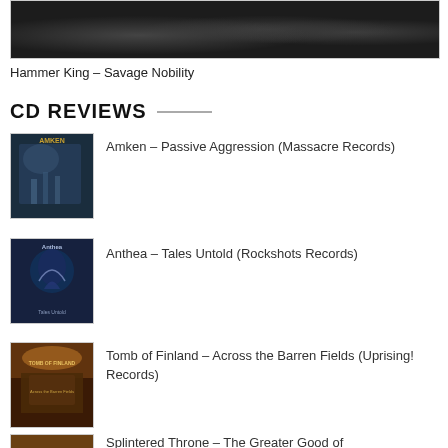[Figure (photo): Band photo of Hammer King in dark clothing against a dark background]
Hammer King – Savage Nobility
CD REVIEWS
[Figure (photo): Album cover for Amken – Passive Aggression (Massacre Records)]
Amken – Passive Aggression (Massacre Records)
[Figure (photo): Album cover for Anthea – Tales Untold (Rockshots Records)]
Anthea – Tales Untold (Rockshots Records)
[Figure (photo): Album cover for Tomb of Finland – Across the Barren Fields (Uprising! Records)]
Tomb of Finland – Across the Barren Fields (Uprising! Records)
[Figure (photo): Album cover partially visible for Splintered Throne – The Greater Good of]
Splintered Throne – The Greater Good of